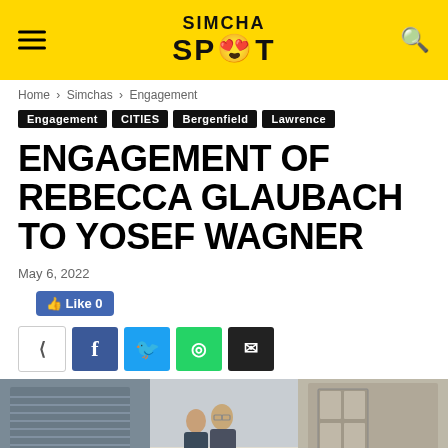SIMCHA SPOT
Home › Simchas › Engagement
Engagement | CITIES | Bergenfield | Lawrence
ENGAGEMENT OF REBECCA GLAUBACH TO YOSEF WAGNER
May 6, 2022
[Figure (other): Social share buttons: Like 0 (Facebook Like), share icon, Facebook, Twitter, WhatsApp, Email]
[Figure (photo): Photo of an engaged couple standing together near a door.]